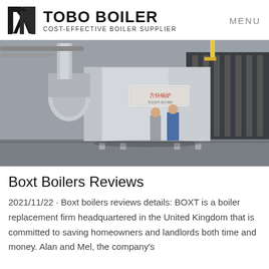TOBO BOILER — COST-EFFECTIVE BOILER SUPPLIER | MENU
[Figure (photo): Industrial boiler unit inside a factory, large rectangular silver/metallic casing with Chinese text on a sign, two workers standing nearby in grey and blue jackets, industrial pipes and equipment visible in the background.]
Boxt Boilers Reviews
2021/11/22 · Boxt boilers reviews details: BOXT is a boiler replacement firm headquartered in the United Kingdom that is committed to saving homeowners and landlords both time and money. Alan and Mel, the company's